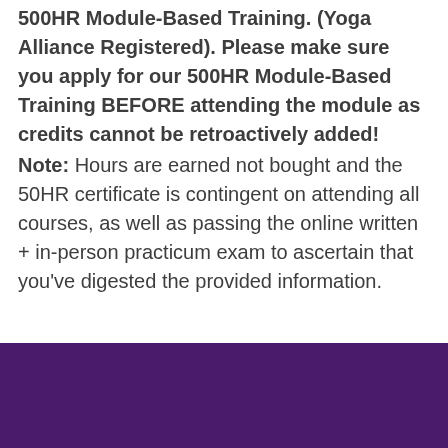500HR Module-Based Training. (Yoga Alliance Registered). Please make sure you apply for our 500HR Module-Based Training BEFORE attending the module as credits cannot be retroactively added! Note: Hours are earned not bought and the 50HR certificate is contingent on attending all courses, as well as passing the online written + in-person practicum exam to ascertain that you've digested the provided information.
[Figure (other): Dark purple/violet footer bar at the bottom of the page]